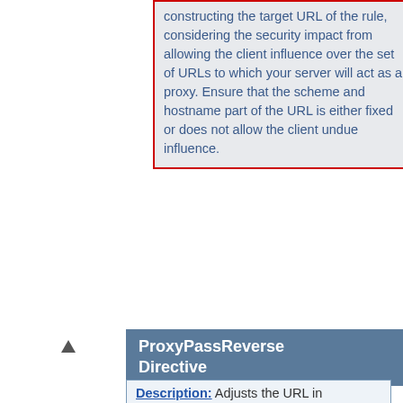constructing the target URL of the rule, considering the security impact from allowing the client influence over the set of URLs to which your server will act as a proxy. Ensure that the scheme and hostname part of the URL is either fixed or does not allow the client undue influence.
ProxyPassReverse Directive
Description: Adjusts the URL in